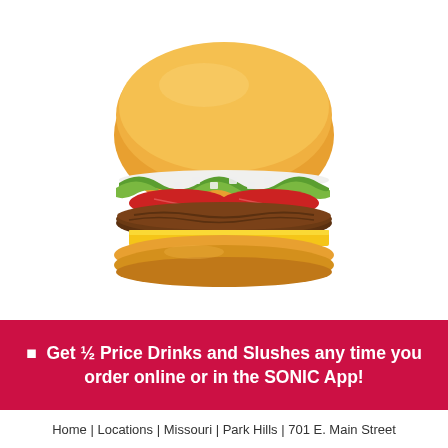[Figure (photo): A Sonic cheeseburger with a golden bun, beef patty, melted yellow cheese, tomato, shredded lettuce, diced onions, and mayo/sauce, photographed on a white background.]
🔴  Get ½ Price Drinks and Slushes any time you order online or in the SONIC App!
Home | Locations | Missouri | Park Hills | 701 E. Main Street